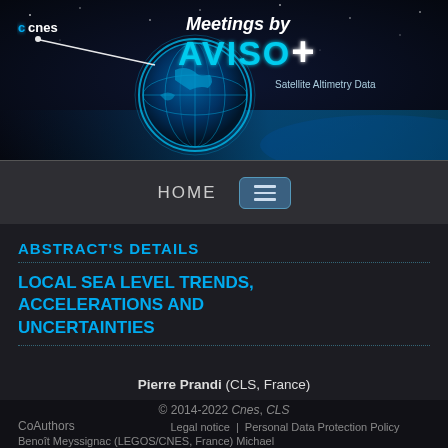[Figure (logo): Meetings by AVISO+ Satellite Altimetry Data banner with CNES logo on dark space background with Earth globe]
HOME [menu button]
ABSTRACT'S DETAILS
LOCAL SEA LEVEL TRENDS, ACCELERATIONS AND UNCERTAINTIES
Pierre Prandi (CLS, France)
© 2014-2022 Cnes, CLS
Legal notice | Personal Data Protection Policy
CoAuthors
Benoît Meyssignac (LEGOS/CNES, France) Michael